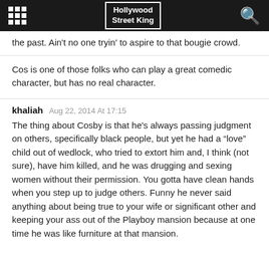Hollywood Street King
the past. Ain't no one tryin' to aspire to that bougie crowd.
Cos is one of those folks who can play a great comedic character, but has no real character.
khaliah  Aug 22, 2014 At 17:15
The thing about Cosby is that he's always passing judgment on others, specifically black people, but yet he had a “love” child out of wedlock, who tried to extort him and, I think (not sure), have him killed, and he was drugging and sexing women without their permission. You gotta have clean hands when you step up to judge others. Funny he never said anything about being true to your wife or significant other and keeping your ass out of the Playboy mansion because at one time he was like furniture at that mansion.